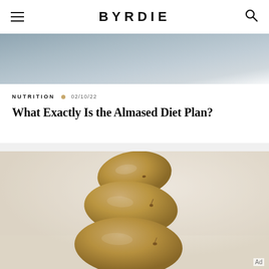BYRDIE
[Figure (photo): Top portion of a hero image with gray/blue tones, partially visible at top of page]
NUTRITION  02/10/22
What Exactly Is the Almased Diet Plan?
[Figure (photo): Stack of three potatoes balanced on top of each other against a light cream/beige background]